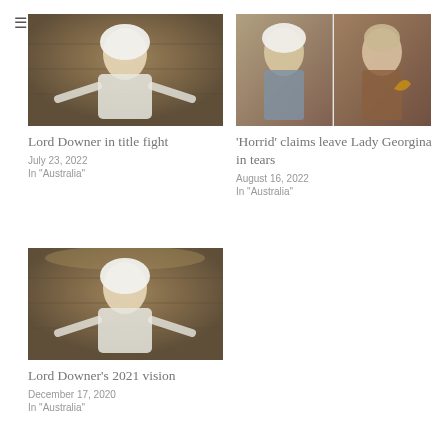[Figure (photo): Man in 18th century white powdered wig and costume in a library setting, arms outstretched]
Lord Downer in title fight
July 23, 2022
In "Australia"
[Figure (photo): Two portraits side by side: man in powdered wig 18th century style on left, woman in 18th century dress with fan on right]
‘Horrid’ claims leave Lady Georgina in tears
August 16, 2022
In "Australia"
[Figure (photo): Man in 18th century white powdered wig and costume in a library setting, arms outstretched]
Lord Downer’s 2021 vision
December 17, 2020
In "Australia"